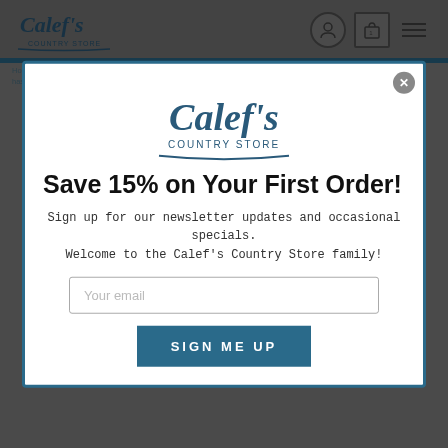[Figure (logo): Calef's Country Store logo in top navigation bar]
Home | New England Made Products | Calef's Cheese & Deli | Cheese | Aged Cheddar Cheese | Vermont Cheddar Gift Box has been added to your cart.
[Figure (logo): Calef's Country Store logo centered in modal popup]
Save 15% on Your First Order!
Sign up for our newsletter updates and occasional specials. Welcome to the Calef's Country Store family!
Your email
SIGN ME UP